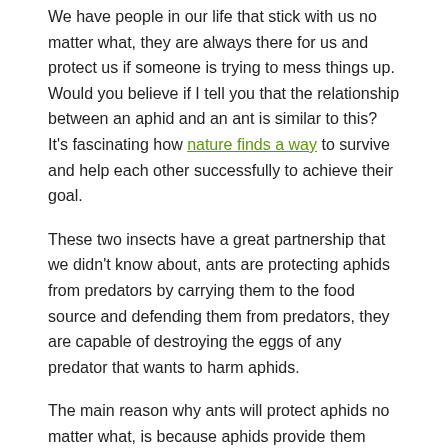We have people in our life that stick with us no matter what, they are always there for us and protect us if someone is trying to mess things up. Would you believe if I tell you that the relationship between an aphid and an ant is similar to this? It's fascinating how nature finds a way to survive and help each other successfully to achieve their goal.
These two insects have a great partnership that we didn't know about, ants are protecting aphids from predators by carrying them to the food source and defending them from predators, they are capable of destroying the eggs of any predator that wants to harm aphids.
The main reason why ants will protect aphids no matter what, is because aphids provide them food, the sticky substance that is produced by aphids called honeydew are the ants favorite snack.
How Do Aphids Damage Plants?